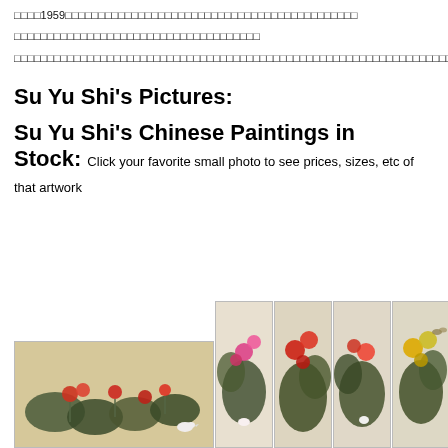苏玉石1959年生于中国，中国画大师，专于花鸟画，擅长工笔与写意
苏玉石的作品在中国及东南亚广受欢迎
苏玉石在国际上获得很高声誉，他的作品被世界各地的收藏家珍藏，并在过去20年中多次展览
Su Yu Shi's Pictures:
Su Yu Shi's Chinese Paintings in Stock:
Click your favorite small photo to see prices, sizes, etc of that artwork
[Figure (photo): Chinese flower paintings by Su Yu Shi showing colorful botanical artwork with red and pink flowers on dark leaves, displayed as one wide horizontal painting and four vertical panels]